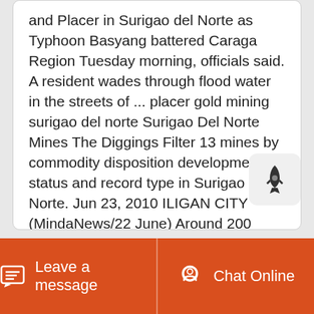and Placer in Surigao del Norte as Typhoon Basyang battered Caraga Region Tuesday morning, officials said. A resident wades through flood water in the streets of ... placer gold mining surigao del norte Surigao Del Norte Mines The Diggings Filter 13 mines by commodity disposition development status and record type in Surigao Del Norte. Jun 23, 2010 ILIGAN CITY (MindaNews/22 June) Around 200 residents of Barangay Anislagan in Placer town, Surigao del Norte today marched to the Hall of Justice in Surigao City to file a case that an environment watchdog said would put to test case the New Rules of Procedure for Environmental Cases.
Leave a message  Chat Online